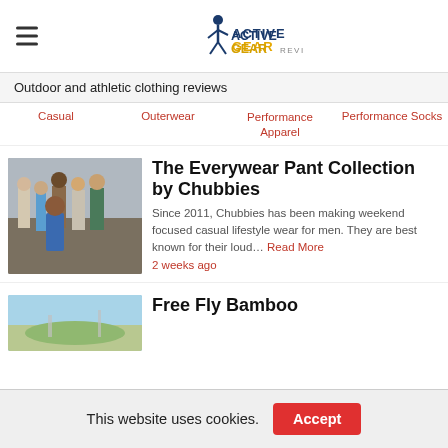ACTIVEGEARREVIEW (logo with hamburger menu)
Outdoor and athletic clothing reviews
Casual
Outerwear
Performance Apparel
Performance Socks
[Figure (photo): Group of people outdoors in casual clothing, one person doing a dynamic pose in the foreground]
The Everywear Pant Collection by Chubbies
Since 2011, Chubbies has been making weekend focused casual lifestyle wear for men. They are best known for their loud… Read More
2 weeks ago
[Figure (photo): Outdoor landscape photo with sky and hills]
Free Fly Bamboo
This website uses cookies.
Accept